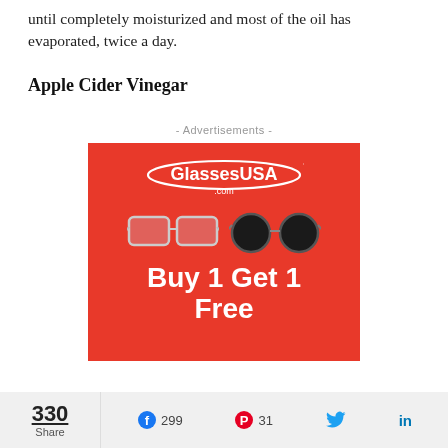until completely moisturized and most of the oil has evaporated, twice a day.
Apple Cider Vinegar
- Advertisements -
[Figure (other): GlassesUSA.com advertisement with two pairs of glasses (clear rectangular frames and dark round sunglasses) on a red background with text 'Buy 1 Get 1 Free']
330 Share  299  31  (Twitter)  in